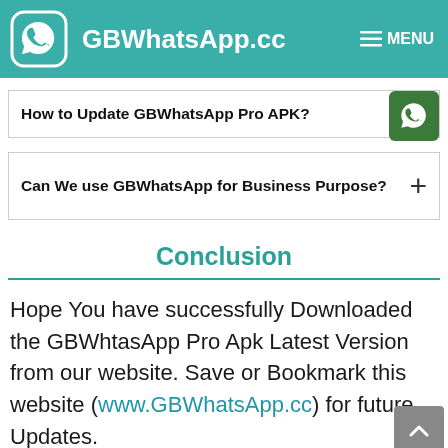GBWhatsApp.cc  MENU
How to Update GBWhatsApp Pro APK?
Can We use GBWhatsApp for Business Purpose?
Conclusion
Hope You have successfully Downloaded the GBWhtasApp Pro Apk Latest Version from our website. Save or Bookmark this website (www.GBWhatsApp.cc) for future Updates.